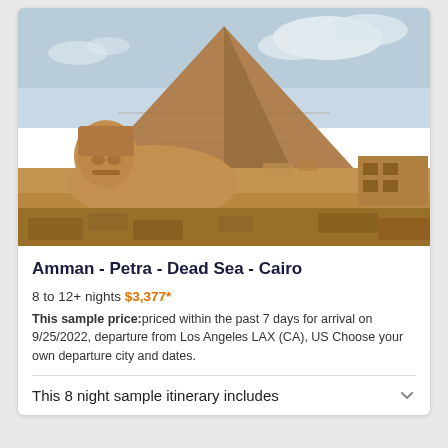[Figure (photo): Photo of the Great Sphinx and Pyramid of Khafre in Giza, Egypt, under a partly cloudy sky.]
Amman - Petra - Dead Sea - Cairo
8 to 12+ nights $3,377*
This sample price:priced within the past 7 days for arrival on 9/25/2022, departure from Los Angeles LAX (CA), US Choose your own departure city and dates.
This 8 night sample itinerary includes